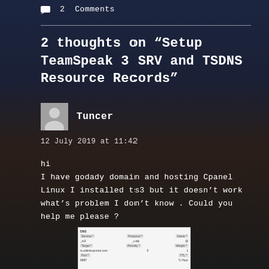2 Comments
2 thoughts on “Setup TeamSpeak 3 SRV and TSDNS Resource Records”
Tuncer
12 July 2019 at 11:42
hi
I have godady domain and hosting Cpanel Linux I installed ts3 but it doesn’t work what’s problem I don’t know . Could you help me please ?
[Figure (screenshot): A screenshot of a DNS or server configuration form with fields for Service, Protocol, Name, Priority, Weight, and similar settings.]